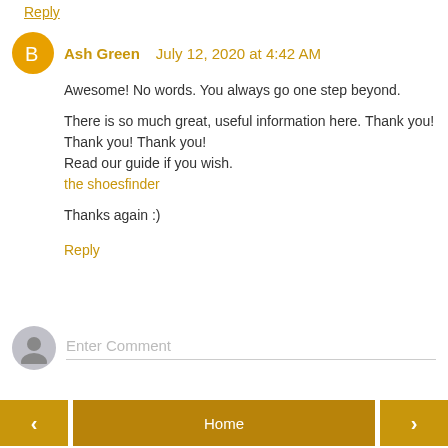Reply
Ash Green July 12, 2020 at 4:42 AM
Awesome! No words. You always go one step beyond.

There is so much great, useful information here. Thank you! Thank you! Thank you!
Read our guide if you wish.
the shoesfinder

Thanks again :)
Reply
Enter Comment
< Home >